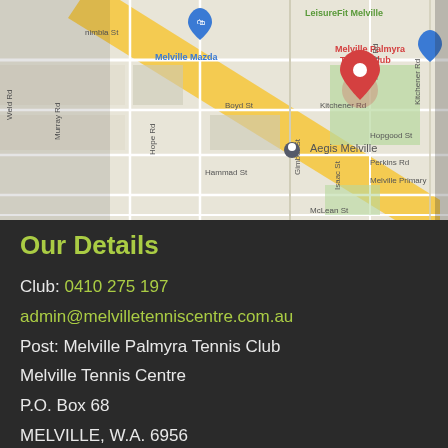[Figure (map): Google Maps screenshot showing the area around Melville Palmyra Tennis Club. Visible landmarks include LeisureFit Melville, Melville Mazda, Aegis Melville. Streets include Kitchener Rd, Boyd St, Hopgood St, Perkins Rd, Hammad St, McLean St, Murray Rd, Hope Rd, Weld Rd, Gimber St, Isaac St, Money Rd. A red location pin marks Melville Palmyra Tennis Club.]
Our Details
Club: 0410 275 197
admin@melvilletenniscentre.com.au
Post: Melville Palmyra Tennis Club
Melville Tennis Centre
P.O. Box 68
MELVILLE, W.A. 6956